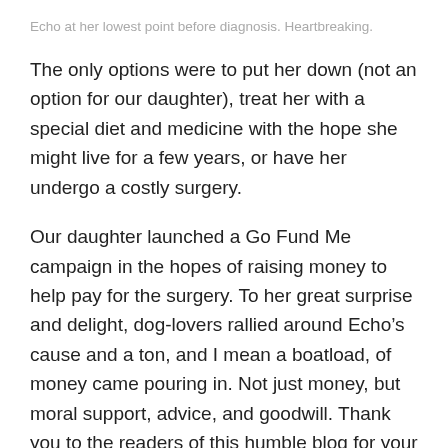Echo at her lowest point before diagnosis. Heartbreaking.
The only options were to put her down (not an option for our daughter), treat her with a special diet and medicine with the hope she might live for a few years, or have her undergo a costly surgery.
Our daughter launched a Go Fund Me campaign in the hopes of raising money to help pay for the surgery. To her great surprise and delight, dog-lovers rallied around Echo’s cause and a ton, and I mean a boatload, of money came pouring in. Not just money, but moral support, advice, and goodwill. Thank you to the readers of this humble blog for your donations and posting about the situation on your social media outlets. It truly is heartwarming. Thank you, thank you.